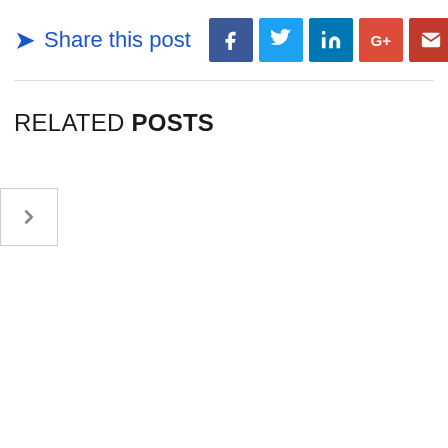→ Share this post [Facebook] [Twitter] [LinkedIn] [Google+] [Email]
RELATED POSTS
[Figure (other): Navigation arrow button pointing right, with a light gray border box]